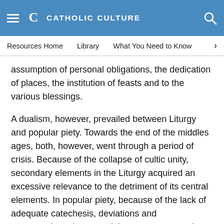Catholic Culture
Resources Home | Library | What You Need to Know
assumption of personal obligations, the dedication of places, the institution of feasts and to the various blessings.
A dualism, however, prevailed between Liturgy and popular piety. Towards the end of the middles ages, both, however, went through a period of crisis. Because of the collapse of cultic unity, secondary elements in the Liturgy acquired an excessive relevance to the detriment of its central elements. In popular piety, because of the lack of adequate catechesis, deviations and exaggerations threatened the correct expressions of Christian worship.